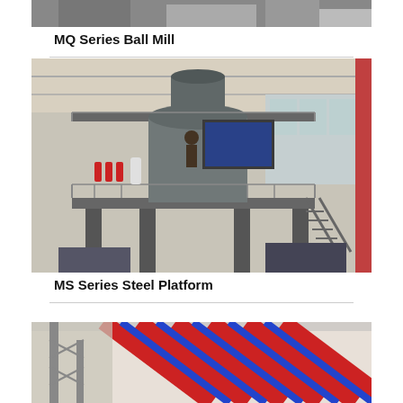[Figure (photo): Partial view of MQ Series Ball Mill industrial machinery, cropped at top of page]
MQ Series Ball Mill
[Figure (photo): MS Series Steel Platform - a large multi-story industrial steel platform structure inside a factory/warehouse building, with metal railings, stairs, and fire extinguishers visible]
MS Series Steel Platform
[Figure (photo): Partial view of another industrial product at bottom of page, showing scaffolding and red/blue striped tent or covering material]